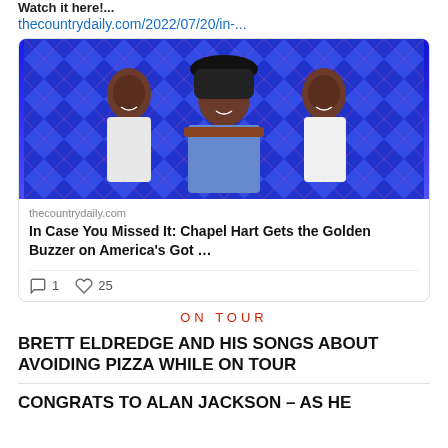Watch it here!...
thecountrydaily.com/2022/07/20/in-...
[Figure (photo): Three women posing together against a blue geometric/neon background. The woman on the left wears a white jacket, the woman in the center wears a black cowboy hat and denim jacket over a maroon top, and the woman on the right wears a white crop top.]
thecountrydaily.com
In Case You Missed It: Chapel Hart Gets the Golden Buzzer on America's Got …
1  25
ON TOUR
BRETT ELDREDGE AND HIS SONGS ABOUT AVOIDING PIZZA WHILE ON TOUR
CONGRATS TO ALAN JACKSON – AS HE